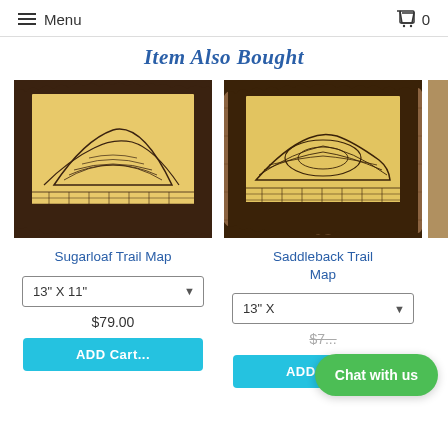Menu  0
Item Also Bought
[Figure (photo): Wooden laser-cut trail map plaque of Sugarloaf, gold design on dark wood background, photographed on light wood surface]
Sugarloaf Trail Map
[Figure (photo): Wooden laser-cut trail map plaque of Saddleback, gold design on dark wood background, photographed on wood plank surface]
Saddleback Trail Map
13" X 11"
13" X
$79.00
$7...
Chat with us